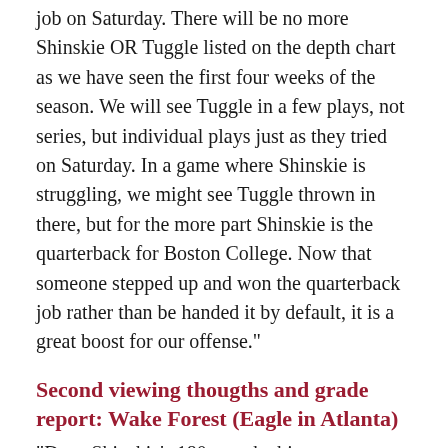job on Saturday. There will be no more Shinskie OR Tuggle listed on the depth chart as we have seen the first four weeks of the season. We will see Tuggle in a few plays, not series, but individual plays just as they tried on Saturday. In a game where Shinskie is struggling, we might see Tuggle thrown in there, but for the more part Shinskie is the quarterback for Boston College. Now that someone stepped up and won the quarterback job rather than be handed it by default, it is a great boost for our offense."
Second viewing thougths and grade report: Wake Forest (Eagle in Atlanta)
"Dave Shinskie's 180 was the biggest reason for the win. I've been in Tuggle's corner, but Shinskie was pretty impressive. If we are on the upside of his learning curve, we are going to score often this year